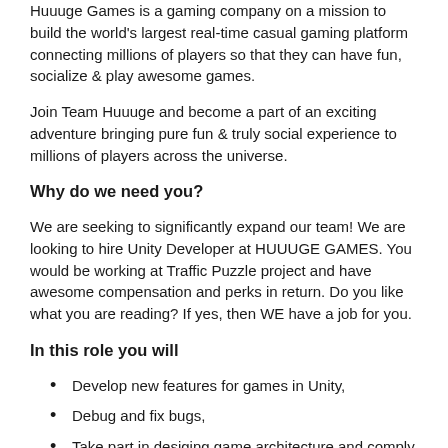Huuuge Games is a gaming company on a mission to build the world's largest real-time casual gaming platform connecting millions of players so that they can have fun, socialize & play awesome games.
Join Team Huuuge and become a part of an exciting adventure bringing pure fun & truly social experience to millions of players across the universe.
Why do we need you?
We are seeking to significantly expand our team! We are looking to hire Unity Developer at HUUUGE GAMES. You would be working at Traffic Puzzle project and have awesome compensation and perks in return. Do you like what you are reading? If yes, then WE have a job for you.
In this role you will
Develop new features for games in Unity,
Debug and fix bugs,
Take part in desiging game architecture and comply with best clean code practices,
Integrate live ops services with the internal tool,